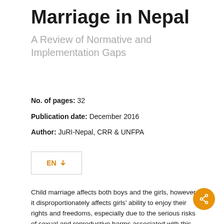Marriage in Nepal
A Review of Normative and Implementation Gaps
No. of pages: 32
Publication date: December 2016
Author: JuRI-Nepal, CRR & UNFPA
[Figure (other): Download button with EN label and download arrow icon, outlined rectangle button in orange text]
Child marriage affects both boys and the girls, however, it disproportionately affects girls’ ability to enjoy their rights and freedoms, especially due to the serious risks of sexual and reproductive harms associated with this practice. Child marriage triggers a continuum of